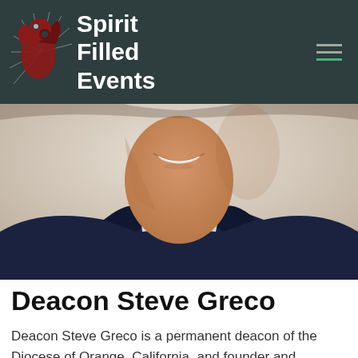Spirit Filled Events
[Figure (photo): Close-up photo of Deacon Steve Greco smiling, wearing a dark blazer and light blue open-collar shirt]
Deacon Steve Greco
Deacon Steve Greco is a permanent deacon of the Diocese of Orange, California, and founder and